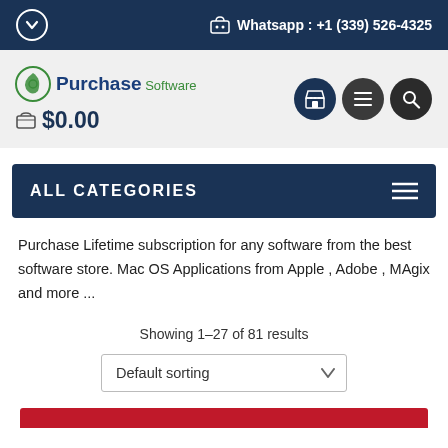Whatsapp : +1 (339) 526-4325
[Figure (logo): Purchase Software logo with green leaf icon and cart showing $0.00]
ALL CATEGORIES
Purchase Lifetime subscription for any software from the best software store. Mac OS Applications from Apple , Adobe , MAgix and more ...
Showing 1–27 of 81 results
Default sorting